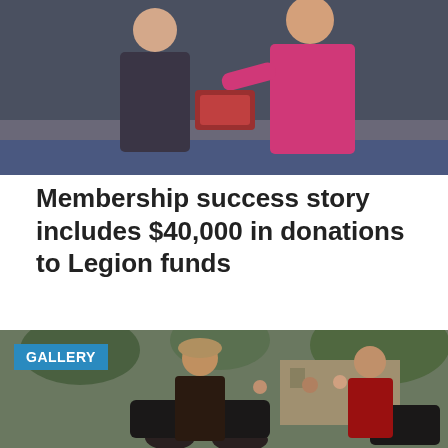[Figure (photo): Two people at an indoor event, one in a dark suit and one in a bright pink jacket, interacting near a decorated motorcycle or display item on a blue carpeted floor.]
Membership success story includes $40,000 in donations to Legion funds
[Figure (photo): Outdoor motorcycle rally scene with bikers wearing leather vests with patches hugging, motorcycles parked nearby, trees and a building in background. A 'GALLERY' badge overlays the top-left corner.]